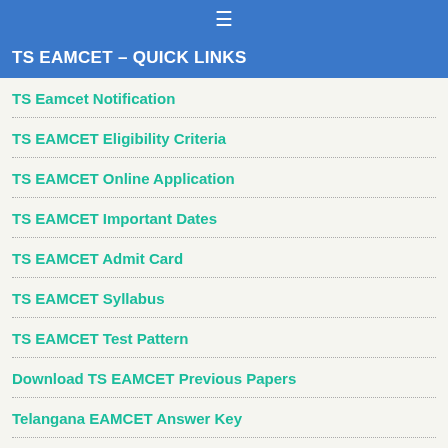☰
TS EAMCET – QUICK LINKS
TS Eamcet Notification
TS EAMCET Eligibility Criteria
TS EAMCET Online Application
TS EAMCET Important Dates
TS EAMCET Admit Card
TS EAMCET Syllabus
TS EAMCET Test Pattern
Download TS EAMCET Previous Papers
Telangana EAMCET Answer Key
TS EAMCET Cut Off